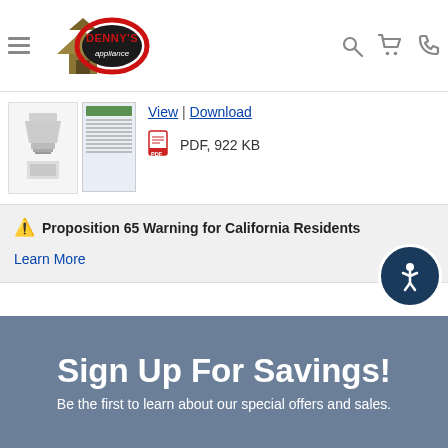[Figure (logo): Denny's Appliance logo — house icon with red oval and brand name]
[Figure (illustration): Product thumbnails: range hood appliance images]
View | Download
PDF, 922 KB
⚠ Proposition 65 Warning for California Residents
Learn More
Sign Up For Savings!
Be the first to learn about our special offers and sales.